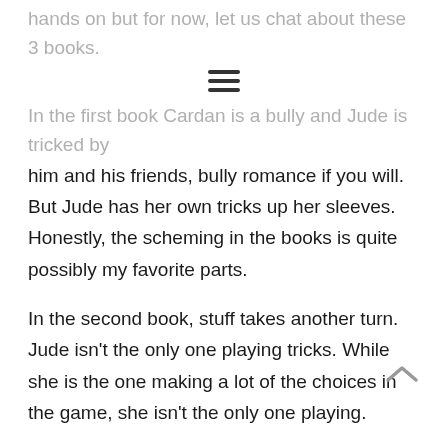hands on but for now, let us chat about these 3 books.
In the first book Cardan is a bully and Jude is tricked by him and his friends, bully romance if you will. But Jude has her own tricks up her sleeves. Honestly, the scheming in the books is quite possibly my favorite parts.
In the second book, stuff takes another turn. Jude isn't the only one playing tricks. While she is the one making a lot of the choices in the game, she isn't the only one playing.
In the third book, we have even more deceit, but we have so much more love too. And I cried, oh I cried. Things got so bleak!
Then the end was amazing, and I loved it and I need